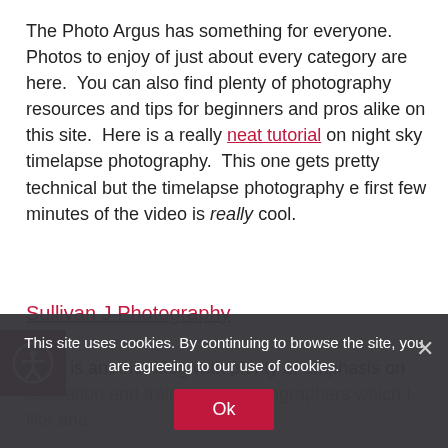The Photo Argus has something for everyone. Photos to enjoy of just about every category are here. You can also find plenty of photography resources and tips for beginners and pros alike on this site. Here is a really neat tutorial on night sky timelapse photography. This one gets pretty technical but the timelapse photography e first few minutes of the video is really cool.
Sullivan J Photography
Here is another blog with plenty of emphasis on education and training for photographers which I like and which are large... macro photos of flowers are very nice and I also enjoyed this little to... was also fun to... Channels 37
This site uses cookies. By continuing to browse the site, you are agreeing to our use of cookies.